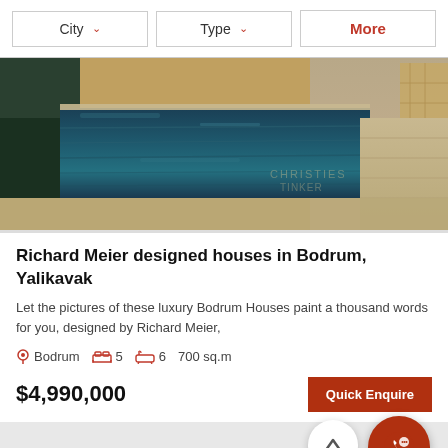City  ∨    Type  ∨    More
[Figure (photo): Infinity pool of a luxury villa in Bodrum, Yalikavak, designed by Richard Meier. The pool extends toward the horizon with stone decking and warm evening light.]
Richard Meier designed houses in Bodrum, Yalikavak
Let the pictures of these luxury Bodrum Houses paint a thousand words for you, designed by Richard Meier,
Bodrum  5  6  700 sq.m
$4,990,000  Quick Enquire
Villa